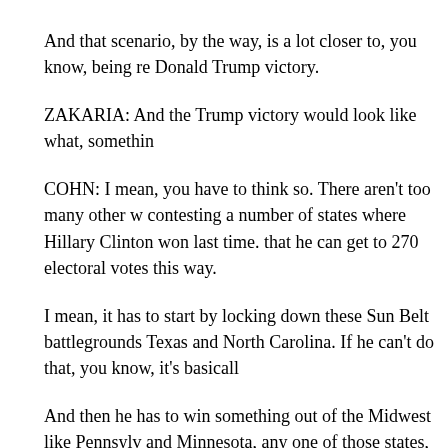And that scenario, by the way, is a lot closer to, you know, being re... Donald Trump victory.
ZAKARIA: And the Trump victory would look like what, somethin...
COHN: I mean, you have to think so. There aren't too many other w... contesting a number of states where Hillary Clinton won last time. ... that he can get to 270 electoral votes this way.
I mean, it has to start by locking down these Sun Belt battlegrounds... Texas and North Carolina. If he can't do that, you know, it's basicall...
And then he has to win something out of the Midwest like Pennsylv... and Minnesota, any one of those states, supposing that the presiden... battlegrounds, would be enough for Donald Trump to win.